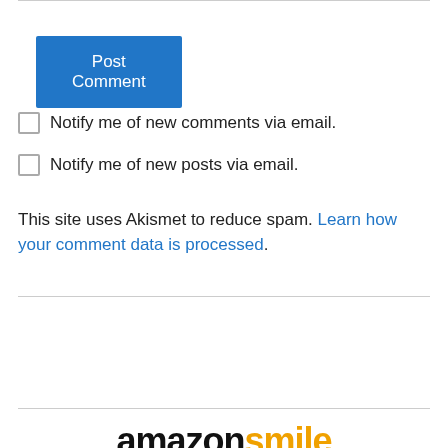[Figure (screenshot): Post Comment button — blue rectangle with white text]
Notify me of new comments via email.
Notify me of new posts via email.
This site uses Akismet to reduce spam. Learn how your comment data is processed.
[Figure (other): PayPal Donate button with credit card logos (MasterCard, VISA, AmEx, Discover, Bank)]
[Figure (logo): AmazonSmile logo — amazon in black bold, smile in orange bold]